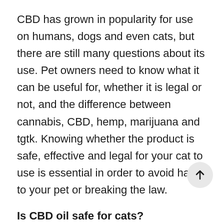CBD has grown in popularity for use on humans, dogs and even cats, but there are still many questions about its use. Pet owners need to know what it can be useful for, whether it is legal or not, and the difference between cannabis, CBD, hemp, marijuana and tgtk. Knowing whether the product is safe, effective and legal for your cat to use is essential in order to avoid harm to your pet or breaking the law.
Is CBD oil safe for cats?
Unfortunately, there is little research done on cats to show that CBD is safe or effective. Unless research is done to show that CBD and hemp are really safe and help cats, it is inappropriate to